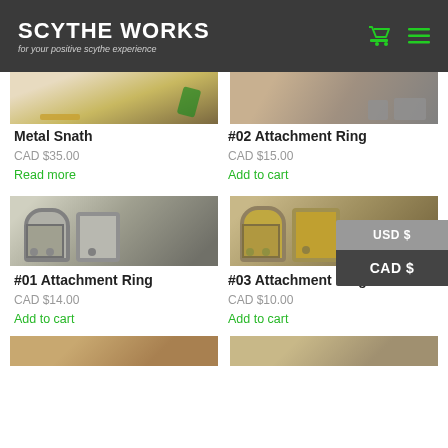SCYTHE WORKS — for your positive scythe experience
[Figure (photo): Partial product image top — Metal Snath with green cord]
[Figure (photo): Partial product image top — #02 Attachment Ring metal parts on wood]
Metal Snath
CAD $35.00
Read more
#02 Attachment Ring
CAD $15.00
Add to cart
[Figure (photo): #01 Attachment Ring — metal clamp pieces on grey/brown background]
[Figure (photo): #03 Attachment Ring — metal clamp pieces on wood background]
#01 Attachment Ring
CAD $14.00
Add to cart
#03 Attachment Ring
CAD $10.00
Add to cart
[Figure (photo): Partial product image bottom left — wood/metal detail]
[Figure (photo): Partial product image bottom right — wood/metal detail]